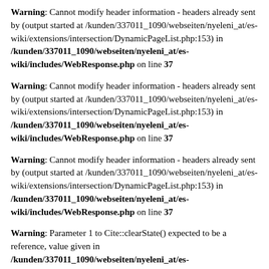Warning: Cannot modify header information - headers already sent by (output started at /kunden/337011_1090/webseiten/nyeleni_at/es-wiki/extensions/intersection/DynamicPageList.php:153) in /kunden/337011_1090/webseiten/nyeleni_at/es-wiki/includes/WebResponse.php on line 37
Warning: Cannot modify header information - headers already sent by (output started at /kunden/337011_1090/webseiten/nyeleni_at/es-wiki/extensions/intersection/DynamicPageList.php:153) in /kunden/337011_1090/webseiten/nyeleni_at/es-wiki/includes/WebResponse.php on line 37
Warning: Cannot modify header information - headers already sent by (output started at /kunden/337011_1090/webseiten/nyeleni_at/es-wiki/extensions/intersection/DynamicPageList.php:153) in /kunden/337011_1090/webseiten/nyeleni_at/es-wiki/includes/WebResponse.php on line 37
Warning: Parameter 1 to Cite::clearState() expected to be a reference, value given in /kunden/337011_1090/webseiten/nyeleni_at/es-wiki/includes/Hooks.php on line 201